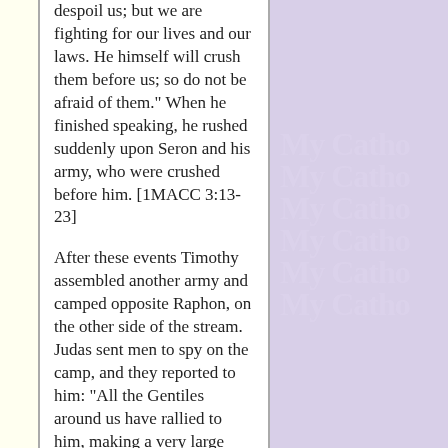despoil us; but we are fighting for our lives and our laws. He himself will crush them before us; so do not be afraid of them." When he finished speaking, he rushed suddenly upon Seron and his army, who were crushed before him. [1MACC 3:13-23]
After these events Timothy assembled another army and camped opposite Raphon, on the other side of the stream. Judas sent men to spy on the camp, and they reported to him: "All the Gentiles around us have rallied to him, making a very large force; they have also hired Arabs to help them, and have camped beyond the stream, ready to attack you." So Judas went forward to attack them.
[Figure (other): Repeating watermark text 'My Catho' in light lavender color on purple background, appearing 6 times vertically]